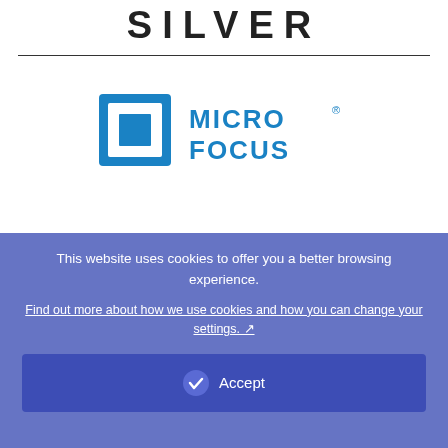SILVER
[Figure (logo): Micro Focus logo — blue square bracket icon with 'MICRO FOCUS' text in blue]
MEDIA
This website uses cookies to offer you a better browsing experience.
Find out more about how we use cookies and how you can change your settings.
Accept